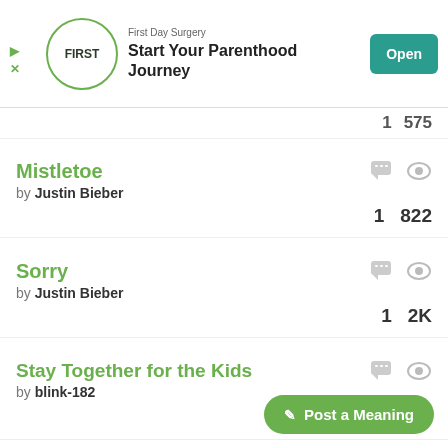[Figure (screenshot): App advertisement banner for First Day Surgery: Start Your Parenthood Journey with Open button]
Mistletoe by Justin Bieber — 1 comment, 822 views
Sorry by Justin Bieber — 1 comment, 2K views
Stay Together for the Kids by blink-182 — 1 comment, 725 views
Post a Meaning